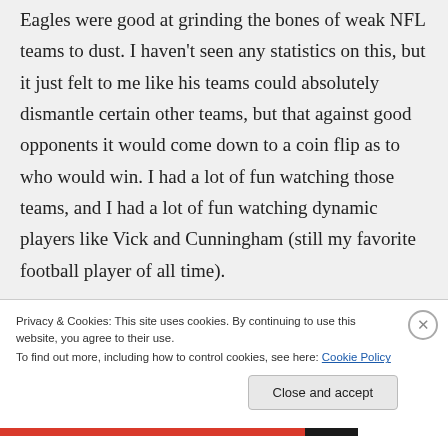Eagles were good at grinding the bones of weak NFL teams to dust. I haven't seen any statistics on this, but it just felt to me like his teams could absolutely dismantle certain other teams, but that against good opponents it would come down to a coin flip as to who would win. I had a lot of fun watching those teams, and I had a lot of fun watching dynamic players like Vick and Cunningham (still my favorite football player of all time).
Privacy & Cookies: This site uses cookies. By continuing to use this website, you agree to their use. To find out more, including how to control cookies, see here: Cookie Policy
Close and accept